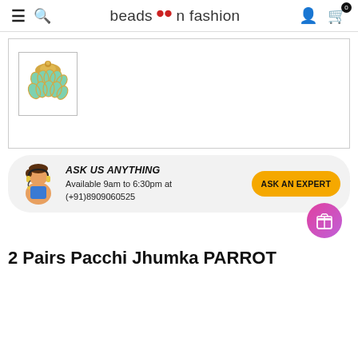beads n fashion
[Figure (photo): Thumbnail image of a mint green and gold Pacchi Jhumka jewellery piece, displayed in a bordered square thumbnail box within a product image area.]
ASK US ANYTHING
Available 9am to 6:30pm at (+91)8909060525
2 Pairs Pacchi Jhumka PARROT